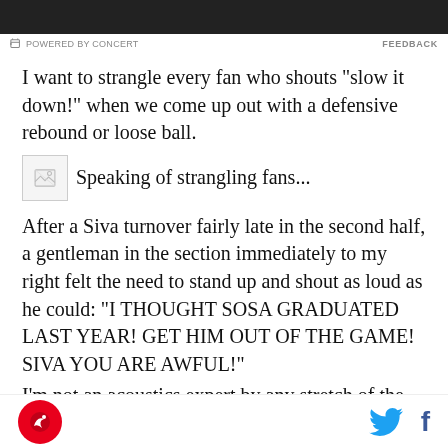[Figure (photo): Dark/black image at top of page, partial view]
POWERED BY CONCERT   FEEDBACK
I want to strangle every fan who shouts "slow it down!" when we come up out with a defensive rebound or loose ball.
[Figure (photo): Broken/missing inline image thumbnail]
Speaking of strangling fans...
After a Siva turnover fairly late in the second half, a gentleman in the section immediately to my right felt the need to stand up and shout as loud as he could: "I THOUGHT SOSA GRADUATED LAST YEAR! GET HIM OUT OF THE GAME! SIVA YOU ARE AWFUL!"
I'm not an acoustics expert by any stretch of the
logo | twitter | facebook